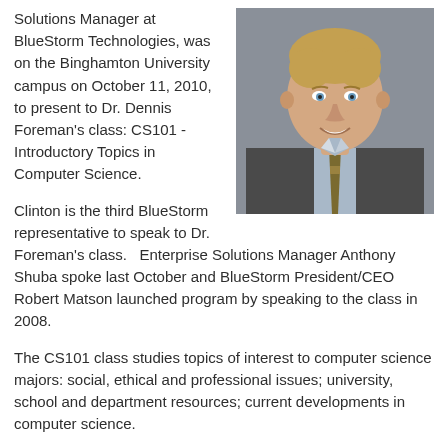[Figure (photo): Headshot photo of a young man with short blonde hair, wearing a grey suit jacket, light blue shirt, and patterned tie, smiling, against a grey background.]
Solutions Manager at BlueStorm Technologies, was on the Binghamton University campus on October 11, 2010, to present to Dr. Dennis Foreman's class: CS101 - Introductory Topics in Computer Science.
Clinton is the third BlueStorm representative to speak to Dr. Foreman's class.   Enterprise Solutions Manager Anthony Shuba spoke last October and BlueStorm President/CEO Robert Matson launched program by speaking to the class in 2008.
The CS101 class studies topics of interest to computer science majors: social, ethical and professional issues; university, school and department resources; current developments in computer science.
In his presentation, Clinton discussed what it will be like once the students graduate and are entering into the corporate world. Some other